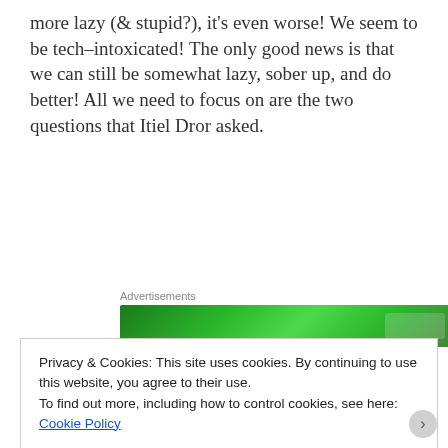more lazy (& stupid?), it's even worse! We seem to be tech–intoxicated! The only good news is that we can still be somewhat lazy, sober up, and do better! All we need to focus on are the two questions that Itiel Dror asked.
[Figure (other): Advertisements banner — green gradient banner advertisement]
What does the fact that our individual brains do less because of technology mean for:
Privacy & Cookies: This site uses cookies. By continuing to use this website, you agree to their use.
To find out more, including how to control cookies, see here: Cookie Policy

Close and accept